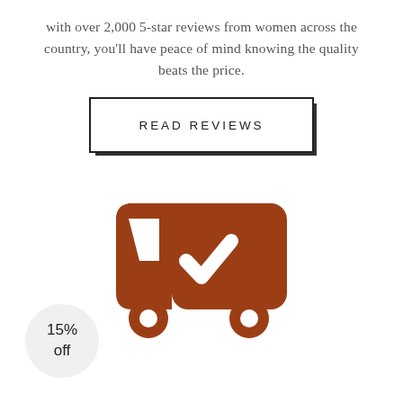with over 2,000 5-star reviews from women across the country, you'll have peace of mind knowing the quality beats the price.
READ REVIEWS
[Figure (illustration): A brown delivery truck icon with a white checkmark on its cargo area, indicating successful delivery.]
15% off